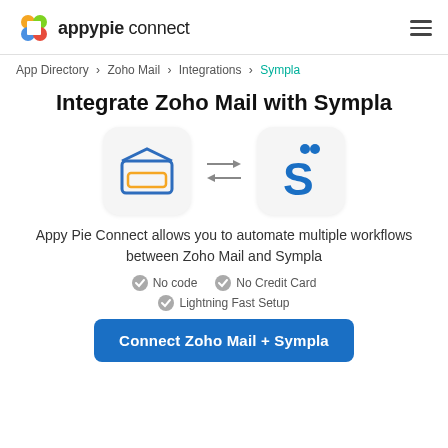appypie connect
App Directory > Zoho Mail > Integrations > Sympla
Integrate Zoho Mail with Sympla
[Figure (illustration): Zoho Mail envelope icon and Sympla S logo connected by bidirectional arrows]
Appy Pie Connect allows you to automate multiple workflows between Zoho Mail and Sympla
No code
No Credit Card
Lightning Fast Setup
Connect Zoho Mail + Sympla